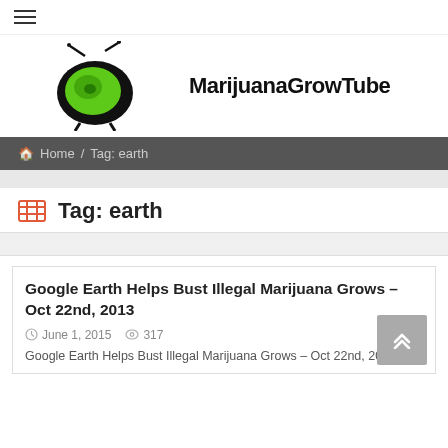[Figure (logo): MarijuanaGrowTube logo with a TV-shaped green blob character and bold black text 'MarijuanaGrowTube']
Home / Tag: earth
Tag: earth
Google Earth Helps Bust Illegal Marijuana Grows – Oct 22nd, 2013
June 1, 2015   317
Google Earth Helps Bust Illegal Marijuana Grows – Oct 22nd, 2013